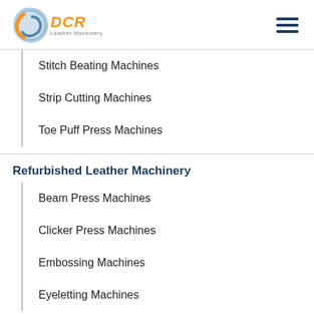[Figure (logo): DCR Leather Machinery logo with circular swoosh graphic in blue and orange text]
Stitch Beating Machines
Strip Cutting Machines
Toe Puff Press Machines
Refurbished Leather Machinery
Beam Press Machines
Clicker Press Machines
Embossing Machines
Eyeletting Machines